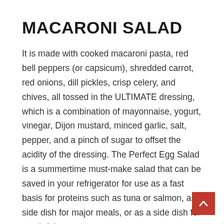MACARONI SALAD
It is made with cooked macaroni pasta, red bell peppers (or capsicum), shredded carrot, red onions, dill pickles, crisp celery, and chives, all tossed in the ULTIMATE dressing, which is a combination of mayonnaise, yogurt, vinegar, Dijon mustard, minced garlic, salt, pepper, and a pinch of sugar to offset the acidity of the dressing. The Perfect Egg Salad is a summertime must-make salad that can be saved in your refrigerator for use as a fast basis for proteins such as tuna or salmon, as a side dish for major meals, or as a side dish for sandwiches.